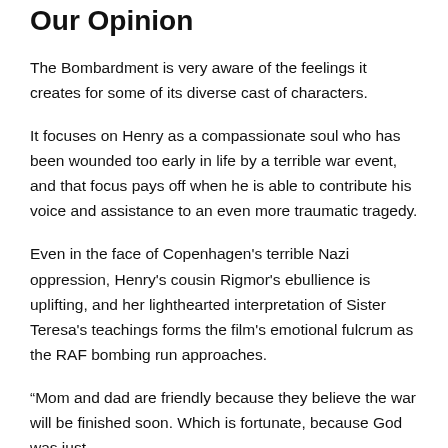Our Opinion
The Bombardment is very aware of the feelings it creates for some of its diverse cast of characters.
It focuses on Henry as a compassionate soul who has been wounded too early in life by a terrible war event, and that focus pays off when he is able to contribute his voice and assistance to an even more traumatic tragedy.
Even in the face of Copenhagen's terrible Nazi oppression, Henry's cousin Rigmor's ebullience is uplifting, and her lighthearted interpretation of Sister Teresa's teachings forms the film's emotional fulcrum as the RAF bombing run approaches.
“Mom and dad are friendly because they believe the war will be finished soon. Which is fortunate, because God was just